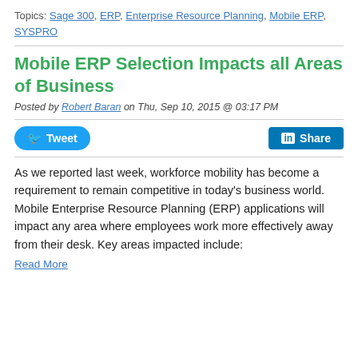Topics: Sage 300, ERP, Enterprise Resource Planning, Mobile ERP, SYSPRO
Mobile ERP Selection Impacts all Areas of Business
Posted by Robert Baran on Thu, Sep 10, 2015 @ 03:17 PM
[Figure (other): Tweet and LinkedIn Share social media buttons]
As we reported last week, workforce mobility has become a requirement to remain competitive in today’s business world. Mobile Enterprise Resource Planning (ERP) applications will impact any area where employees work more effectively away from their desk. Key areas impacted include:
Read More